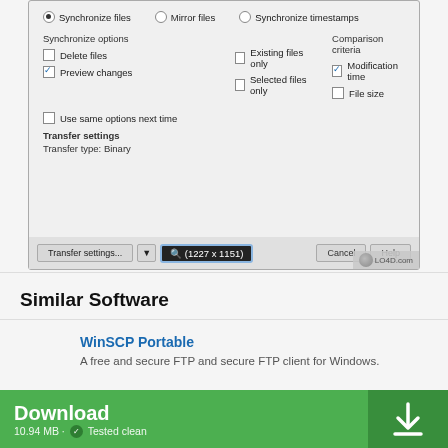[Figure (screenshot): Software dialog screenshot showing synchronize options with radio buttons (Synchronize files selected, Mirror files, Synchronize timestamps), checkboxes for Delete files, Preview changes, Existing files only, Selected files only, Modification time (checked), File size. Also shows Use same options next time checkbox, Transfer settings section with Transfer type: Binary, and bottom bar with Transfer settings... button, zoom indicator (1227 x 1151), Cancel and Help buttons. LO4D.com watermark visible.]
Similar Software
WinSCP Portable
A free and secure FTP and secure FTP client for Windows.
Download
10.94 MB · ✓ Tested clean